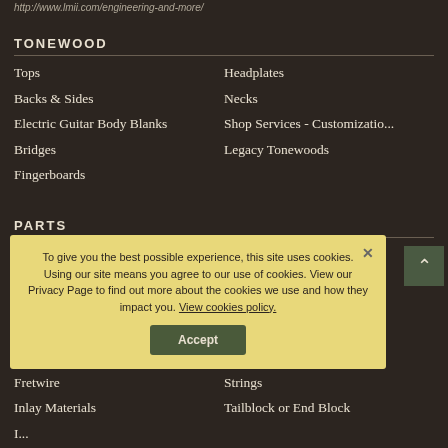http://www.lmii.com/engineering-and-more/
TONEWOOD
Tops
Backs & Sides
Electric Guitar Body Blanks
Bridges
Fingerboards
Headplates
Necks
Shop Services - Customizatio...
Legacy Tonewoods
PARTS
Bindings & Purflings & Trim ...
Bracewood
Bri...
El...
El...
Fretwire
Inlay Materials
Pickguard Material
Pickups - Acoustic
...Electric
...ements
Strings
Tailblock or End Block
To give you the best possible experience, this site uses cookies. Using our site means you agree to our use of cookies. View our Privacy Page to find out more about the cookies we use and how they impact you. View cookies policy.